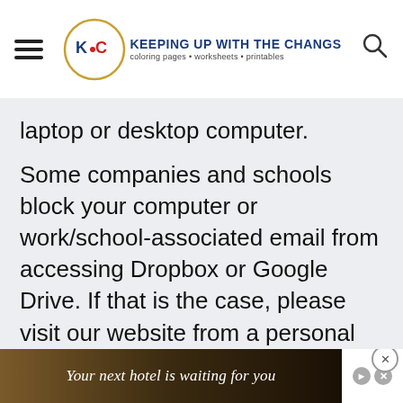KEEPING UP WITH THE CHANGS coloring pages · worksheets · printables
laptop or desktop computer.
Some companies and schools block your computer or work/school-associated email from accessing Dropbox or Google Drive. If that is the case, please visit our website from a personal device and email
[Figure (other): Advertisement banner: 'Your next hotel is waiting for you' with hotel background image]